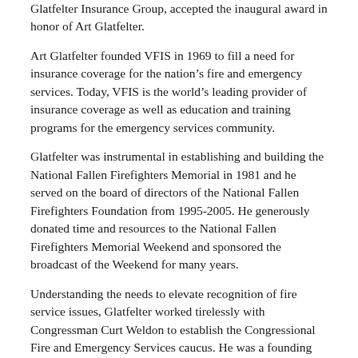Glatfelter Insurance Group, accepted the inaugural award in honor of Art Glatfelter.
Art Glatfelter founded VFIS in 1969 to fill a need for insurance coverage for the nation’s fire and emergency services. Today, VFIS is the world’s leading provider of insurance coverage as well as education and training programs for the emergency services community.
Glatfelter was instrumental in establishing and building the National Fallen Firefighters Memorial in 1981 and he served on the board of directors of the National Fallen Firefighters Foundation from 1995-2005. He generously donated time and resources to the National Fallen Firefighters Memorial Weekend and sponsored the broadcast of the Weekend for many years.
Understanding the needs to elevate recognition of fire service issues, Glatfelter worked tirelessly with Congressman Curt Weldon to establish the Congressional Fire and Emergency Services caucus. He was a founding director of the Congressional Fire Services Institute and served on the board of the Fire